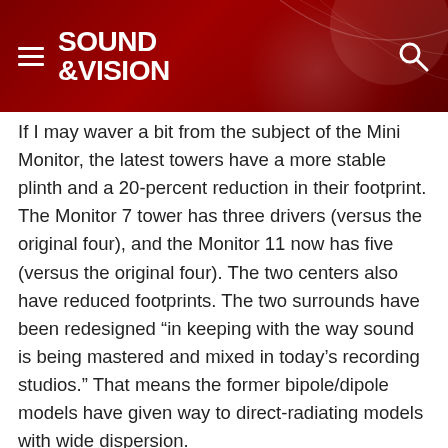SOUND &VISION
If I may waver a bit from the subject of the Mini Monitor, the latest towers have a more stable plinth and a 20-percent reduction in their footprint. The Monitor 7 tower has three drivers (versus the original four), and the Monitor 11 now has five (versus the original four). The two centers also have reduced footprints. The two surrounds have been redesigned “in keeping with the way sound is being mastered and mixed in today’s recording studios.” That means the former bipole/dipole models have given way to direct-radiating models with wide dispersion.
Perfect Bass Forever
For this review, the Mini Monitor is joined by the DSP-